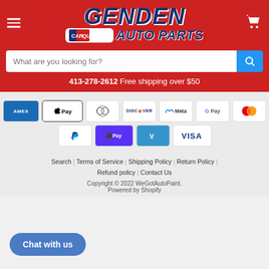[Figure (logo): Genden CarQuest Auto Parts logo with red background, hamburger menu icon on left, cart icon on right]
What are you looking for?
413-278-2612  Free shipping over $50
[Figure (infographic): Payment method icons: American Express, Apple Pay, Diners Club, Discover, Meta Pay, Google Pay, Mastercard, PayPal, Shop Pay, Venmo, Visa]
Search | Terms of Service | Shipping Policy | Return Policy | Refund policy | Contact Us
Copyright © 2022 WeGotAutoPaint. Powered by Shopify
Chat with us